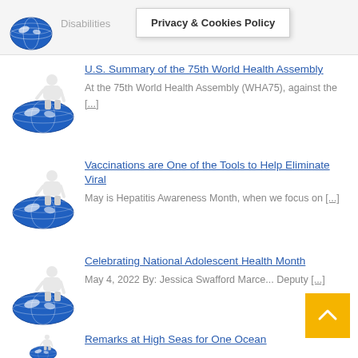Disabilities
Privacy & Cookies Policy
U.S. Summary of the 75th World Health Assembly — At the 75th World Health Assembly (WHA75), against the [...]
Vaccinations are One of the Tools to Help Eliminate Viral — May is Hepatitis Awareness Month, when we focus on [...]
Celebrating National Adolescent Health Month — May 4, 2022 By: Jessica Swafford Marce... Deputy [...]
Remarks at High Seas for One Ocean